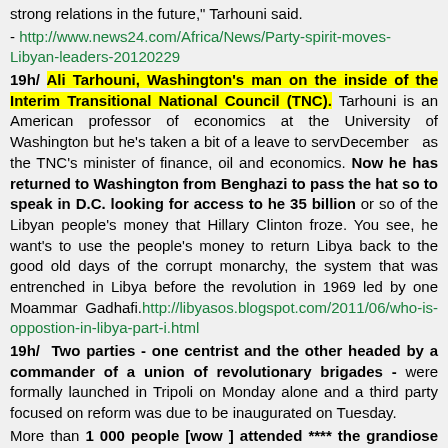strong relations in the future," Tarhouni said.
- http://www.news24.com/Africa/News/Party-spirit-moves-Libyan-leaders-20120229
19h/ Ali Tarhouni, Washington's man on the inside of the Interim Transitional National Council (TNC). Tarhouni is an American professor of economics at the University of Washington but he's taken a bit of a leave to servDecember  as the TNC's minister of finance, oil and economics. Now he has returned to Washington from Benghazi to pass the hat so to speak in D.C. looking for access to he 35 billion or so of the Libyan people's money that Hillary Clinton froze. You see, he want's to use the people's money to return Libya back to the good old days of the corrupt monarchy, the system that was entrenched in Libya before the revolution in 1969 led by one Moammar Gadhafi.http://libyasos.blogspot.com/2011/06/who-is-oppostion-in-libya-part-i.html
19h/  Two parties - one centrist and the other headed by a commander of a union of revolutionary brigades - were formally launched in Tripoli on Monday alone and a third party focused on reform was due to be inaugurated on Tuesday.
More than 1 000 people [wow ] attended **** the grandiose launch***[haha] of former interim oil and finance minister Ali Tarhuni's National Centrist Party on Monday
At a separate event, Abdullah Nakir, head of a Tripoli-based union of revolutionary brigades, launched the Summit party in a small gathering featuring a live band trumpeting the new national anthem.